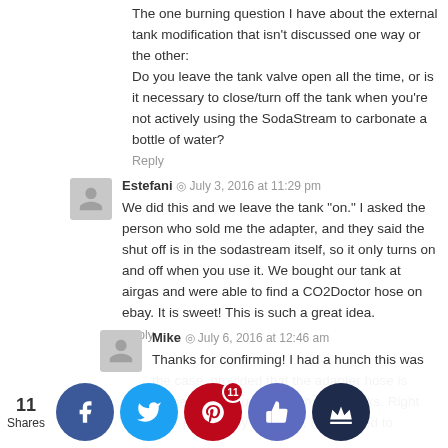The one burning question I have about the external tank modification that isn't discussed one way or the other: Do you leave the tank valve open all the time, or is it necessary to close/turn off the tank when you're not actively using the SodaStream to carbonate a bottle of water?
Reply
Estefani ◎ July 3, 2016 at 11:29 pm
We did this and we leave the tank "on." I asked the person who sold me the adapter, and they said the shut off is in the sodastream itself, so it only turns on and off when you use it. We bought our tank at airgas and were able to find a CO2Doctor hose on ebay. It is sweet! This is such a great idea.
Reply
Mike ◎ July 6, 2016 at 12:46 am
Thanks for confirming! I had a hunch this was the case, provided that the adapter hose is properly constructed and has no leaks. Right after posting my question, I happened to someone was th ut and se of still sea xes of C isters f mo